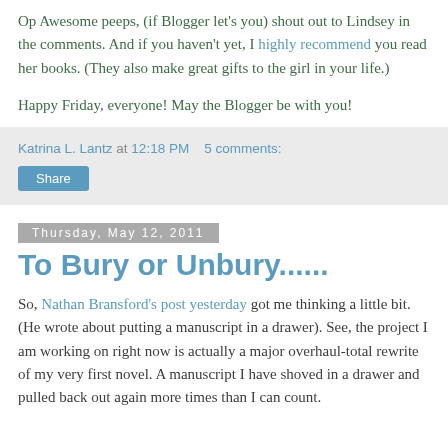Op Awesome peeps, (if Blogger let's you) shout out to Lindsey in the comments. And if you haven't yet, I highly recommend you read her books. (They also make great gifts to the girl in your life.)
Happy Friday, everyone! May the Blogger be with you!
Katrina L. Lantz at 12:18 PM   5 comments:
Share
Thursday, May 12, 2011
To Bury or Unbury......
So, Nathan Bransford's post yesterday got me thinking a little bit. (He wrote about putting a manuscript in a drawer). See, the project I am working on right now is actually a major overhaul-total rewrite of my very first novel. A manuscript I have shoved in a drawer and pulled back out again more times than I can count.